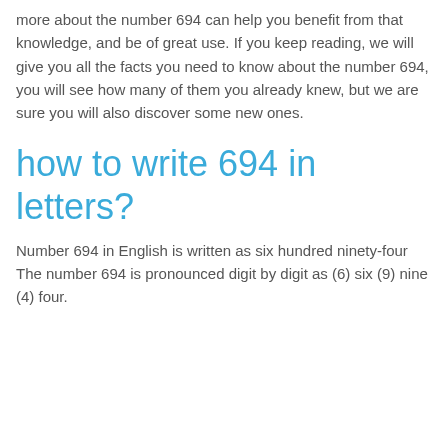more about the number 694 can help you benefit from that knowledge, and be of great use. If you keep reading, we will give you all the facts you need to know about the number 694, you will see how many of them you already knew, but we are sure you will also discover some new ones.
how to write 694 in letters?
Number 694 in English is written as six hundred ninety-four The number 694 is pronounced digit by digit as (6) six (9) nine (4) four.